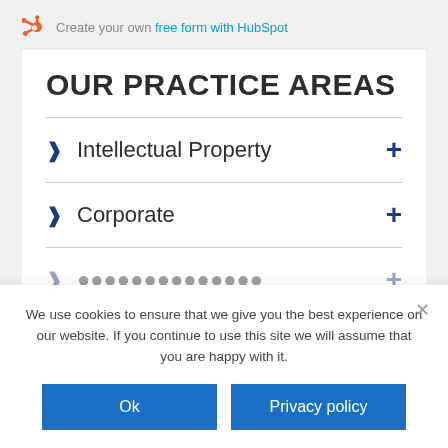Create your own free form with HubSpot
OUR PRACTICE AREAS
Intellectual Property
Corporate
(partial, cut off)
We use cookies to ensure that we give you the best experience on our website. If you continue to use this site we will assume that you are happy with it.